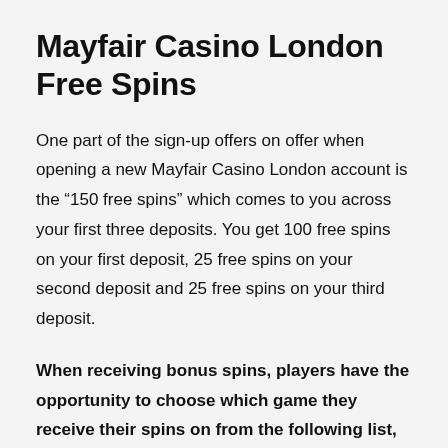Mayfair Casino London Free Spins
One part of the sign-up offers on offer when opening a new Mayfair Casino London account is the “150 free spins” which comes to you across your first three deposits. You get 100 free spins on your first deposit, 25 free spins on your second deposit and 25 free spins on your third deposit.
When receiving bonus spins, players have the opportunity to choose which game they receive their spins on from the following list, with the value of those spins denoted next to each game: